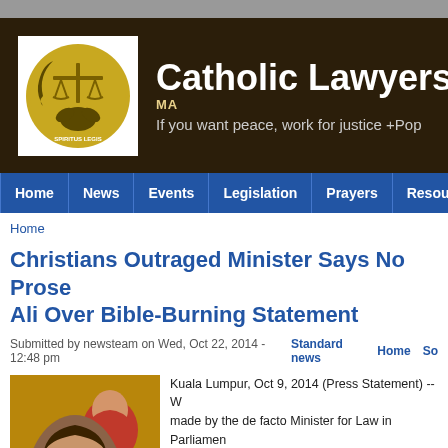[Figure (logo): Catholic Lawyers Society Malaysia logo with scales of justice and the text SPIRITUS LEGIS]
Catholic Lawyers S [MALAYSIA] — If you want peace, work for justice
Home
News
Events
Legislation
Prayers
Resources
Home
Christians Outraged Minister Says No Prosecution of Ibrahim Ali Over Bible-Burning Statement
Submitted by newsteam on Wed, Oct 22, 2014 - 12:48 pm   Standard news   Home   So
[Figure (photo): Photo of a woman in the foreground and another woman in a hijab in the background]
Kuala Lumpur, Oct 9, 2014 (Press Statement) -- W... made by the de facto Minister for Law in Parliament ... would be no prosecution of Ibrahim Ali over his Bible-burning... "only defending the sanctity of Islam".
The Christian Federation of Malaysia on behalf of C... outraged at the fact that threats to burn our Holy Bible... defence of Islam.
The CFM...